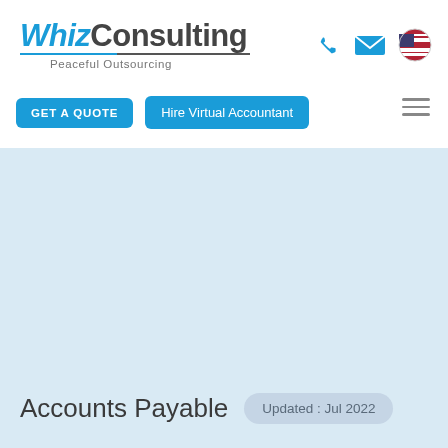WhizConsulting - Peaceful Outsourcing
[Figure (logo): WhizConsulting logo with phone, email, and US flag icons, GET A QUOTE and Hire Virtual Accountant buttons, and hamburger menu]
Accounts Payable
Updated : Jul 2022